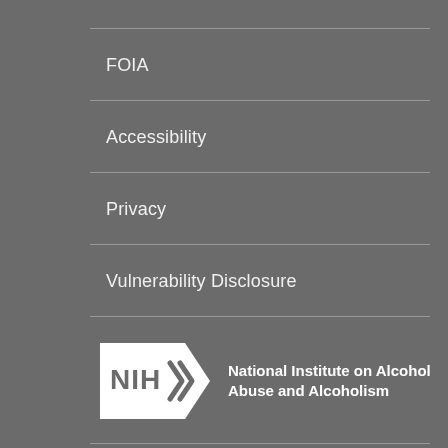FOIA
Accessibility
Privacy
Vulnerability Disclosure
[Figure (logo): NIH logo with arrow shape and text: National Institute on Alcohol Abuse and Alcoholism]
[Figure (logo): Open Access lock icon with text OPEN ACCESS, and LinkedIn icon]